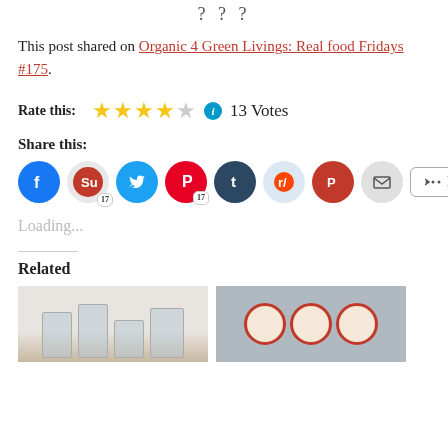? ? ?
This post shared on Organic 4 Green Livings: Real food Fridays #175.
Rate this: ★★★★☆ ℹ 13 Votes
Share this:
[Figure (infographic): Social share buttons: Facebook, StumbleUpon (17), Twitter, Pinterest (17), Tumblr, Reddit, Pocket, Email, More]
Loading...
Related
[Figure (photo): Left related image showing glass jars]
[Figure (photo): Right related image showing three circular pendant lights with red borders]